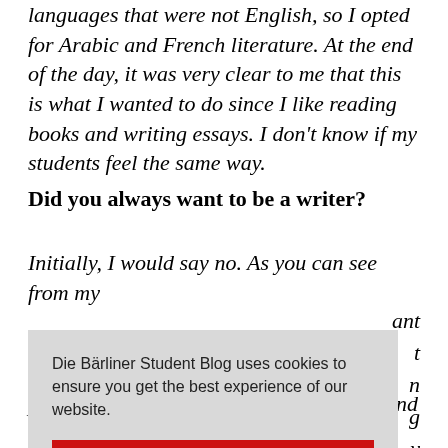languages that were not English, so I opted for Arabic and French literature. At the end of the day, it was very clear to me that this is what I wanted to do since I like reading books and writing essays. I don't know if my students feel the same way.
Did you always want to be a writer?
Initially, I would say no. As you can see from my [partially hidden text] ...ant ...t ...n ...g ...y
Die Bärliner Student Blog uses cookies to ensure you get the best experience of our website.
Got it!
political dissident. He was put in prison and stuck